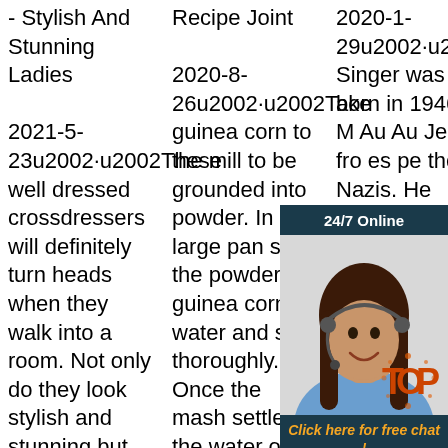- Stylish And Stunning Ladies
2021-5-23u2002·u2002These well dressed crossdressers will definitely turn heads when they walk into a room. Not only do they look stylish and stunning but
Recipe Joint
2020-8-26u2002·u2002Take guinea corn to the mill to be grounded into powder. In a large pan soak the powdered guinea corn in water and stir thoroughly. Once the mash settles, the water on top of the mash is
2020-1-29u2002·u2002Pete Singer was born in 1946. M Au Au Je th fro es pe the Nazis. He studied law, history and philosophy at the University
[Figure (photo): Chat widget with a woman wearing a headset, dark background with '24/7 Online' text and 'Click here for free chat!' and 'QUOTATION' button]
[Figure (logo): TOP circular badge with red/orange dots]